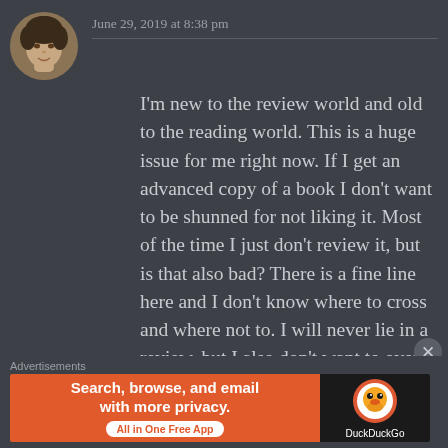[Figure (photo): Circular avatar photo of a young woman with curly dark hair, hand resting near chin, smiling slightly.]
June 29, 2019 at 8:38 pm
I'm new to the review world and old to the reading world. This is a huge issue for me right now. If I get an advanced copy of a book I don't want to be shunned for not liking it. Most of the time I just don't review it, but is that also bad? There is a fine line here and I don't know where to cross and where not to. I will never lie in a review, but I also don't want to over inflate a book either. I don't want someone to read it and say, “why did all these people
Advertisements
[Figure (screenshot): DuckDuckGo advertisement banner. Left side: orange background with white bold text 'Search, browse, and email with more privacy.' and a white pill button 'All in One Free App'. Right side: black background with DuckDuckGo duck logo and 'DuckDuckGo' text.]